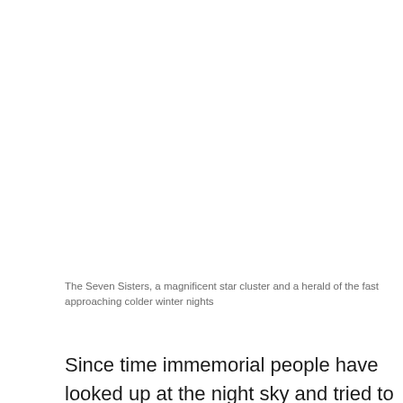The Seven Sisters, a magnificent star cluster and a herald of the fast approaching colder winter nights
Since time immemorial people have looked up at the night sky and tried to make sense of, and understand it. Pinpricks of light twinkling and